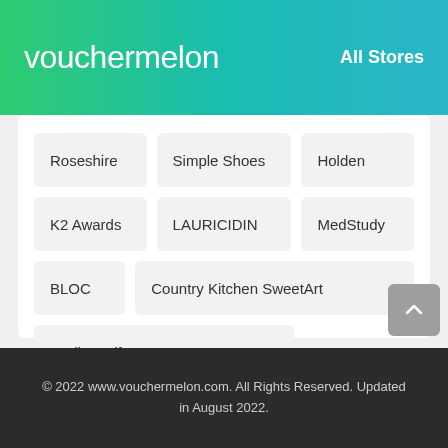vouchermelon — All Stores
Roseshire
Simple Shoes
Holden
K2 Awards
LAURICIDIN
MedStudy
BLOC
Country Kitchen SweetArt
Radiant Life
© 2022 www.vouchermelon.com. All Rights Reserved. Updated in August 2022.